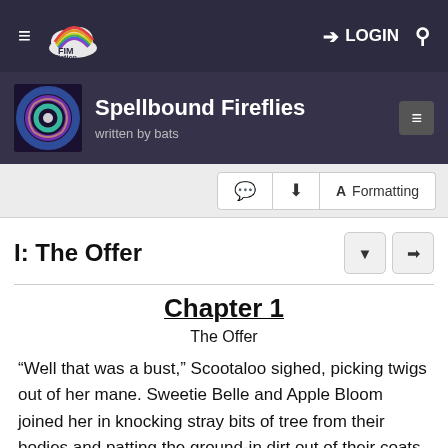FIM Fiction — LOGIN
Spellbound Fireflies written by bats
I: The Offer
Chapter 1
The Offer
“Well that was a bust,” Scootaloo sighed, picking twigs out of her mane. Sweetie Belle and Apple Bloom joined her in knocking stray bits of tree from their bodies and patting the ground-in dirt out of their coats. They lay